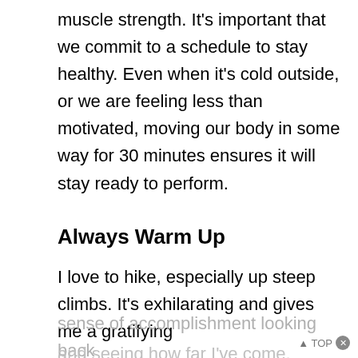muscle strength. It's important that we commit to a schedule to stay healthy. Even when it's cold outside, or we are feeling less than motivated, moving our body in some way for 30 minutes ensures it will stay ready to perform.
Always Warm Up
I love to hike, especially up steep climbs. It's exhilarating and gives me a gratifying sense of accomplishment looking back and seeing how far I've come. But these